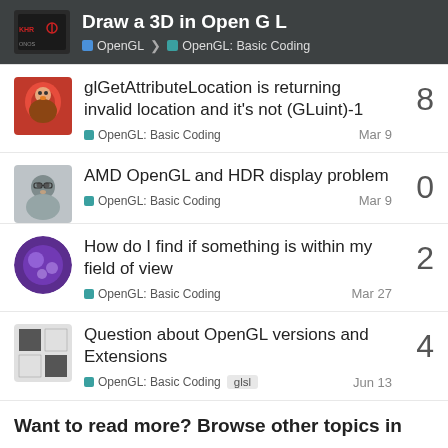Draw a 3D in Open G L — OpenGL > OpenGL: Basic Coding
glGetAttributeLocation is returning invalid location and it's not (GLuint)-1 | OpenGL: Basic Coding | Mar 9 | 8 replies
AMD OpenGL and HDR display problem | OpenGL: Basic Coding | Mar 9 | 0 replies
How do I find if something is within my field of view | OpenGL: Basic Coding | Mar 27 | 2 replies
Question about OpenGL versions and Extensions | OpenGL: Basic Coding | glsl | Jun 13 | 4 replies
Want to read more? Browse other topics in